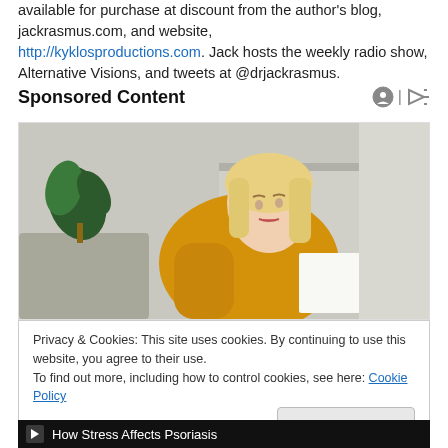available for purchase at discount from the author's blog, jackrasmus.com, and website, http://kyklosproductions.com. Jack hosts the weekly radio show, Alternative Visions, and tweets at @drjackrasmus.
Sponsored Content
[Figure (photo): A blonde woman in a yellow sweater looking down, possibly stressed or reading something, in an indoor setting with plants in background.]
Privacy & Cookies: This site uses cookies. By continuing to use this website, you agree to their use. To find out more, including how to control cookies, see here: Cookie Policy
How Stress Affects Psoriasis